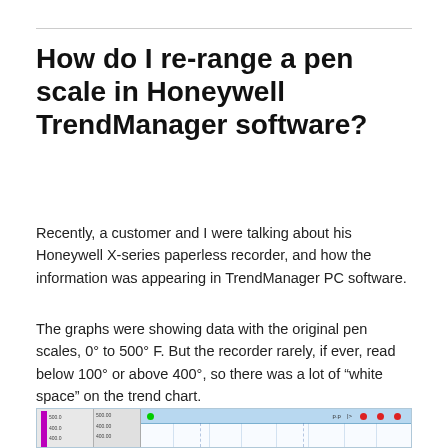How do I re-range a pen scale in Honeywell TrendManager software?
Recently, a customer and I were talking about his Honeywell X-series paperless recorder, and how the information was appearing in TrendManager PC software.
The graphs were showing data with the original pen scales, 0° to 500° F. But the recorder rarely, if ever, read below 100° or above 400°, so there was a lot of “white space” on the trend chart.
[Figure (screenshot): Partial screenshot of Honeywell TrendManager PC software showing a trend chart with pen scale markings including 500.0, 400.0 on the left panel and a light blue grid area on the right.]